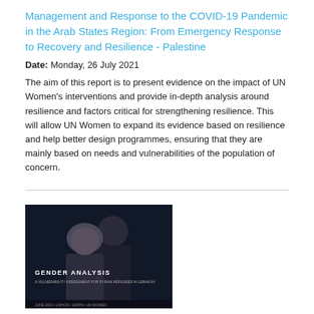Management and Response to the COVID-19 Pandemic in the Arab States Region: From Emergency Response to Recovery and Resilience - Palestine
Date: Monday, 26 July 2021
The aim of this report is to present evidence on the impact of UN Women's interventions and provide in-depth analysis around resilience and factors critical for strengthening resilience. This will allow UN Women to expand its evidence based on resilience and help better design programmes, ensuring that they are mainly based on needs and vulnerabilities of the population of concern.
[Figure (photo): Book cover showing two people (man and woman) on a dark background with text 'GENDER ANALYSIS' in white.]
Gender Analysis: 2020 Vulnerability Assessment for Syrian Refugees in Lebanon
Date: Wednesday, 14 July 2021